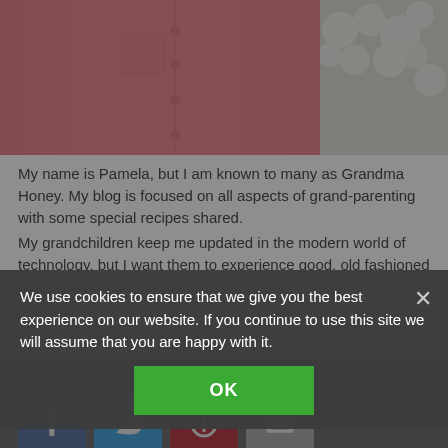[Figure (photo): Partial photo of a person wearing a pink/coral shirt, with white flowers visible in the background on the right side.]
My name is Pamela, but I am known to many as Grandma Honey. My blog is focused on all aspects of grand-parenting with some special recipes shared.
My grandchildren keep me updated in the modern world of technology, but I want them to experience good, old fashioned grand-parenting.
Food Advertising by GourmetAds™
SHARING
[Figure (screenshot): Social sharing icons: Facebook (blue), Twitter (light blue), Pinterest (dark red), and an email icon (grey).]
We use cookies to ensure that we give you the best experience on our website. If you continue to use this site we will assume that you are happy with it.
OK